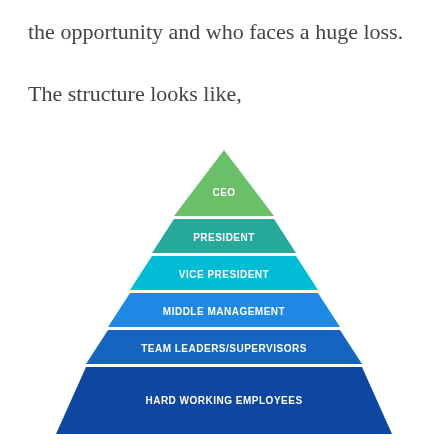the opportunity and who faces a huge loss.
The structure looks like,
[Figure (organizational-chart): Pyramid organizational chart with 6 levels from top to bottom: CEO (green), PRESIDENT (teal-green), VICE PRESIDENT (teal), MIDDLE MANAGEMENT (medium blue), TEAM LEADERS/SUPERVISORS (steel blue), HARD WORKING EMPLOYEES (dark blue)]